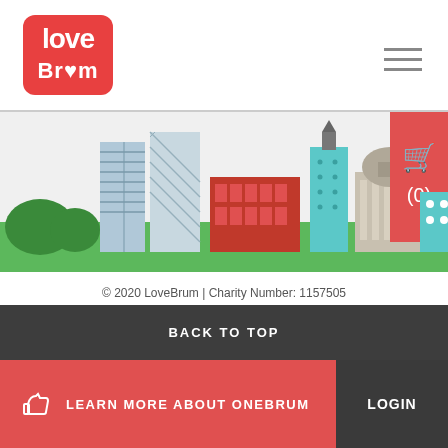[Figure (logo): LoveBrum charity logo - red hand-lettered text with heart symbol]
[Figure (illustration): Birmingham city skyline illustration with green background, featuring modern office buildings, a red market hall, and a classical domed building]
© 2020 LoveBrum | Charity Number: 1157505
Cookies | Privacy Policy | Terms and Conditions | Delivery
[Figure (logo): Lightbox logo - hexagonal icon with company name in grey]
BACK TO TOP
LEARN MORE ABOUT ONEBRUM
LOGIN